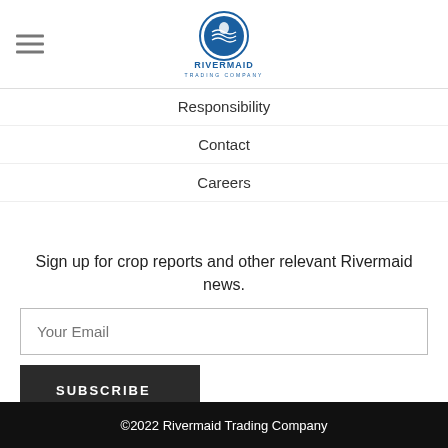[Figure (logo): Rivermaid Trading Company logo with circular blue emblem and company name below]
Responsibility
Contact
Careers
Sign up for crop reports and other relevant Rivermaid news.
©2022 Rivermaid Trading Company